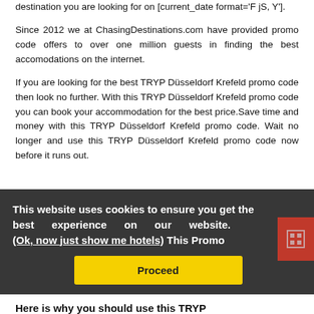destination you are looking for on [current_date format='F jS, Y'].
Since 2012 we at ChasingDestinations.com have provided promo code offers to over one million guests in finding the best accomodations on the internet.
If you are looking for the best TRYP Düsseldorf Krefeld promo code then look no further. With this TRYP Düsseldorf Krefeld promo code you can book your accommodation for the best price.Save time and money with this TRYP Düsseldorf Krefeld promo code. Wait no longer and use this TRYP Düsseldorf Krefeld promo code now before it runs out.
This website uses cookies to ensure you get the best experience on our website. (Ok, now just show me hotels) This Promo
Proceed
Here is why you should use this TRYP